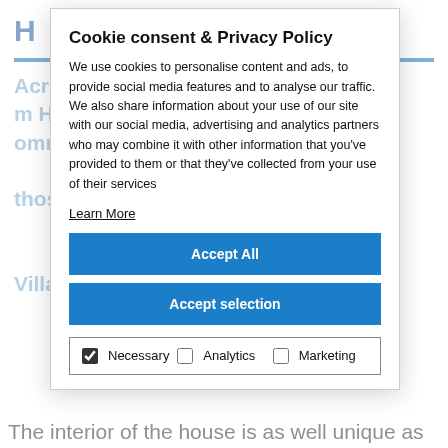[Figure (screenshot): Background webpage content with blue header letter and faded blue text about Acris Vaulou and Villa Castle, partially obscured by cookie consent modal]
Cookie consent & Privacy Policy
We use cookies to personalise content and ads, to provide social media features and to analyse our traffic. We also share information about your use of our site with our social media, advertising and analytics partners who may combine it with other information that you've provided to them or that they've collected from your use of their services
Learn More
Accept All
Accept selection
Necessary   Analytics   Marketing
The interior of the house is as well unique as